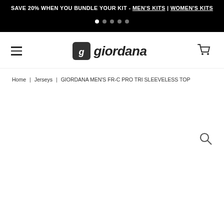SAVE 20% WHEN YOU BUNDLE YOUR KIT - MEN'S KITS | WOMEN'S KITS
[Figure (screenshot): Navigation carousel dots row (5 dots, first active)]
[Figure (logo): Giordana brand logo with cyclist icon and wordmark 'giordana']
Home | Jerseys | GIORDANA MEN'S FR-C PRO TRI SLEEVELESS TOP
[Figure (other): Search magnifying glass icon in upper right of content area]